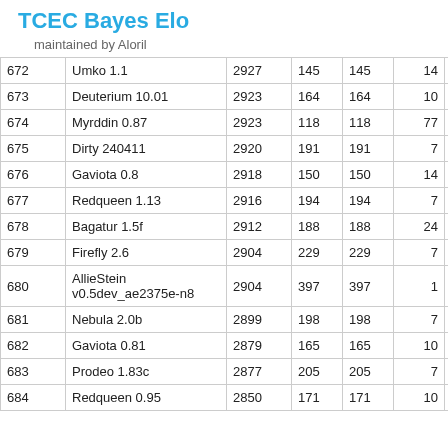TCEC Bayes Elo
maintained by Aloril
| # | Engine | Elo | + | - | Games | % | ... |
| --- | --- | --- | --- | --- | --- | --- | --- |
| 672 | Umko 1.1 | 2927 | 145 | 145 | 14 | 32% | 303 |
| 673 | Deuterium 10.01 | 2923 | 164 | 164 | 10 | 40% | 298 |
| 674 | Myrddin 0.87 | 2923 | 118 | 118 | 77 | 10% | 340 |
| 675 | Dirty 240411 | 2920 | 191 | 191 | 7 | 36% | 303 |
| 676 | Gaviota 0.8 | 2918 | 150 | 150 | 14 | 32% | 303 |
| 677 | Redqueen 1.13 | 2916 | 194 | 194 | 7 | 21% | 309 |
| 678 | Bagatur 1.5f | 2912 | 188 | 188 | 24 | 6% | 335 |
| 679 | Firefly 2.6 | 2904 | 229 | 229 | 7 | 14% | 312 |
| 680 | AllieStein v0.5dev_ae2375e-n8 | 2904 | 397 | 397 | 1 | 0% | 306 |
| 681 | Nebula 2.0b | 2899 | 198 | 198 | 7 | 21% | 309 |
| 682 | Gaviota 0.81 | 2879 | 165 | 165 | 10 | 30% | 299 |
| 683 | Prodeo 1.83c | 2877 | 205 | 205 | 7 | 14% | 310 |
| 684 | Redqueen 0.95 | 2850 | 171 | 171 | 10 | 25% | 300 |